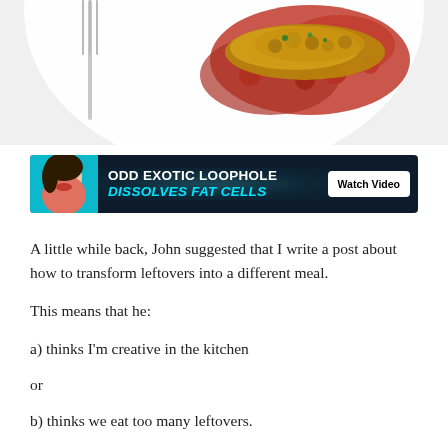[Figure (photo): Top portion of a food photo showing a dish with red sauce/berries and golden crispy topping on a white plate, with a fork visible on the left side.]
[Figure (infographic): Advertisement banner with dark background showing 'ODD EXOTIC LOOPHOLE DISSOLVES FAT CELLS' text with a Watch Video button and stylized female face graphic on left.]
A little while back, John suggested that I write a post about how to transform leftovers into a different meal.
This means that he:
a) thinks I'm creative in the kitchen
or
b) thinks we eat too many leftovers.